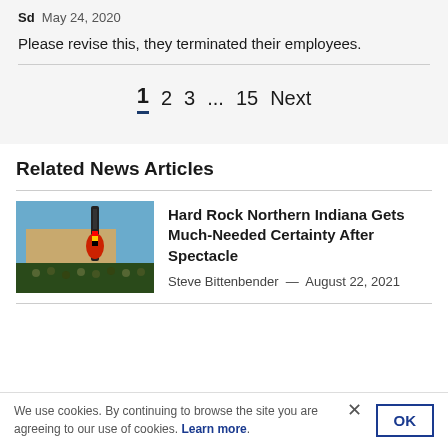Sd  May 24, 2020
Please revise this, they terminated their employees.
1  2  3  ...  15  Next
Related News Articles
Hard Rock Northern Indiana Gets Much-Needed Certainty After Spectacle
Steve Bittenbender — August 22, 2021
We use cookies. By continuing to browse the site you are agreeing to our use of cookies. Learn more.